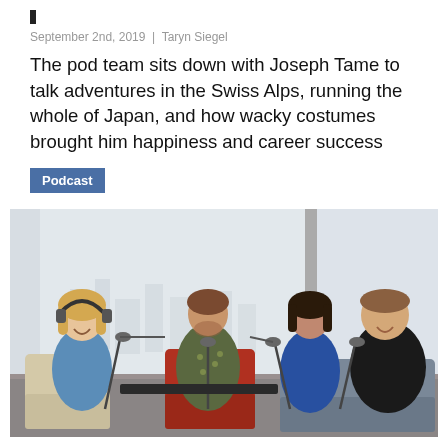September 2nd, 2019 | Taryn Siegel
The pod team sits down with Joseph Tame to talk adventures in the Swiss Alps, running the whole of Japan, and how wacky costumes brought him happiness and career success
Podcast
[Figure (photo): Four people seated in a room with large windows, recording a podcast. From left: a woman with headphones and a microphone laughing, a man in a patterned shirt in a red chair, a woman in a blue dress, and a man in a black t-shirt on a sofa. Microphone stands are in front of them.]